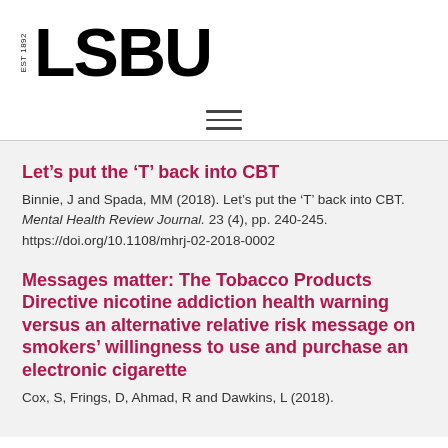[Figure (logo): LSBU logo with EST 1892 text and bold LSBU lettering]
[Figure (other): Hamburger menu icon (three horizontal lines)]
Let’s put the ‘T’ back into CBT
Binnie, J and Spada, MM (2018). Let’s put the ‘T’ back into CBT. Mental Health Review Journal. 23 (4), pp. 240-245. https://doi.org/10.1108/mhrj-02-2018-0002
Messages matter: The Tobacco Products Directive nicotine addiction health warning versus an alternative relative risk message on smokers’ willingness to use and purchase an electronic cigarette
Cox, S, Frings, D, Ahmad, R and Dawkins, L (2018).